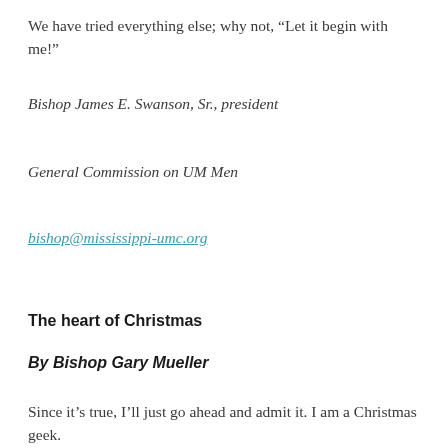We have tried everything else; why not, “Let it begin with me!”
Bishop James E. Swanson, Sr., president
General Commission on UM Men
bishop@mississippi-umc.org
The heart of Christmas
By Bishop Gary Mueller
Since it’s true, I’ll just go ahead and admit it. I am a Christmas geek.